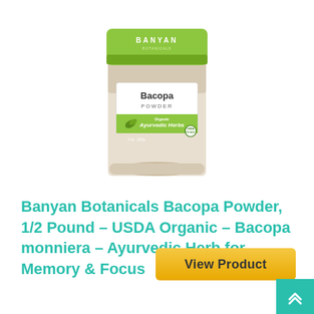[Figure (photo): Product photo of Banyan Botanicals Bacopa Powder in a clear resealable pouch with green top, white label reading 'Bacopa POWDER' and a green 'Organic Ayurvedic Herbs' band with leaf graphic and USDA Organic seal.]
Banyan Botanicals Bacopa Powder, 1/2 Pound – USDA Organic – Bacopa monniera – Ayurvedic Herb for Memory & Focus
View Product